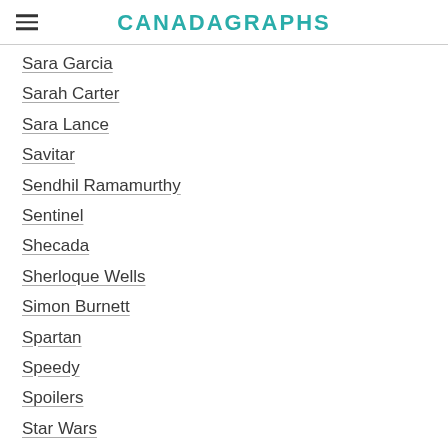CANADAGRAPHS
Sara Garcia
Sarah Carter
Sara Lance
Savitar
Sendhil Ramamurthy
Sentinel
Shecada
Sherloque Wells
Simon Burnett
Spartan
Speedy
Spoilers
Star Wars
Steadfast